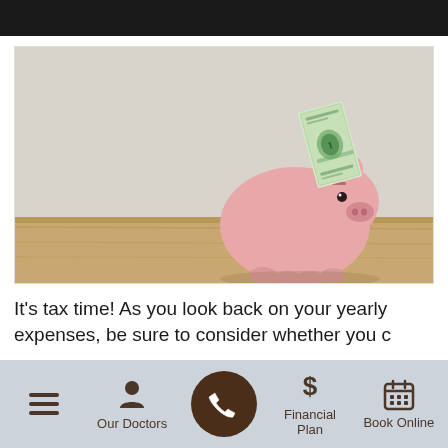[Figure (photo): A pink ceramic piggy bank sitting on a light wooden surface with a dollar bill inserted in the top slot. The background is a plain light gray/white wall. The scene is well-lit and minimalist.]
It's tax time! As you look back on your yearly expenses, be sure to consider whether you c...
Navigation bar with: hamburger menu icon, Our Doctors, phone call button, Financial Plan, Book Online